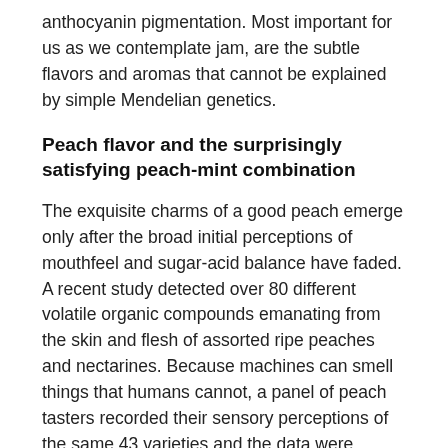anthocyanin pigmentation. Most important for us as we contemplate jam, are the subtle flavors and aromas that cannot be explained by simple Mendelian genetics.
Peach flavor and the surprisingly satisfying peach-mint combination
The exquisite charms of a good peach emerge only after the broad initial perceptions of mouthfeel and sugar-acid balance have faded. A recent study detected over 80 different volatile organic compounds emanating from the skin and flesh of assorted ripe peaches and nectarines. Because machines can smell things that humans cannot, a panel of peach tasters recorded their sensory perceptions of the same 43 varieties and the data were compared. Among the measured compounds that were most strongly correlated with intense ripe fruit aroma were two kinds of gamma-lactone (Bianchi et al., 2017). Gamma-lactones impart creamy, coconut, vanilla, and toasted nut flavors – a combination familiar to wine and